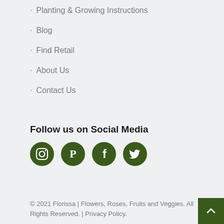· Planting & Growing Instructions
· Blog
· Find Retail
· About Us
· Contact Us
Follow us on Social Media
[Figure (illustration): Four dark green circular social media icons: Instagram, Pinterest, Facebook, Twitter]
© 2021 Florissa | Flowers, Roses, Fruits and Veggies. All Rights Reserved. | Privacy Policy.